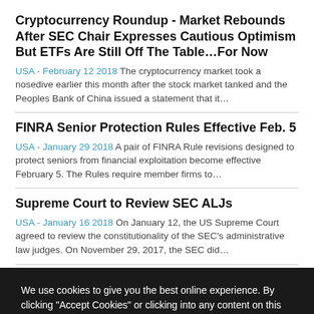Cryptocurrency Roundup - Market Rebounds After SEC Chair Expresses Cautious Optimism But ETFs Are Still Off The Table…For Now
USA - February 12 2018 The cryptocurrency market took a nosedive earlier this month after the stock market tanked and the Peoples Bank of China issued a statement that it…
FINRA Senior Protection Rules Effective Feb. 5
USA - January 29 2018 A pair of FINRA Rule revisions designed to protect seniors from financial exploitation become effective February 5. The Rules require member firms to…
Supreme Court to Review SEC ALJs
USA - January 16 2018 On January 12, the US Supreme Court agreed to review the constitutionality of the SEC's administrative law judges. On November 29, 2017, the SEC did…
We use cookies to give you the best online experience. By clicking "Accept Cookies" or clicking into any content on this site, you agree to allow cookies to be placed. To find out more visit our cookie policy